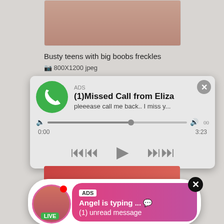[Figure (photo): Cropped photo showing a person's torso/chest area]
Busty teens with big boobs freckles
View  800X1200 jpeg
[Figure (screenshot): Missed call ad popup with phone icon, ADS label, title '(1)Missed Call from Eliza', subtitle 'pleeease call me back.. I miss y...', audio progress bar showing 0:00 to 3:23, and media controls (rewind, play, fast-forward)]
[Figure (photo): Photo of a woman in red/dark clothing]
[Figure (screenshot): Chat notification popup with LIVE avatar, ADS tag, 'Angel is typing ... 💬', '(1) unread message']